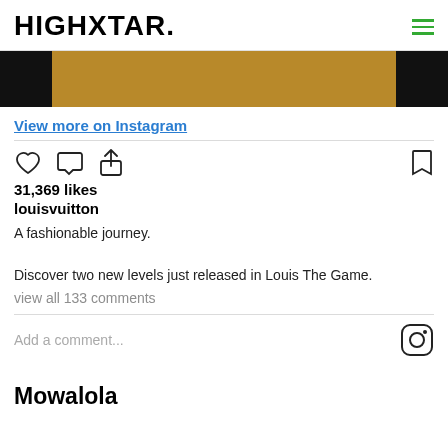HIGHXTAR.
[Figure (photo): Cropped Instagram post image showing black panels on left and right with a golden/tan colored center band]
View more on Instagram
[Figure (infographic): Instagram action icons: heart (like), comment bubble, share arrow on left; bookmark icon on right]
31,369 likes
louisvuitton
A fashionable journey.

Discover two new levels just released in Louis The Game.
view all 133 comments
Add a comment...
Mowalola